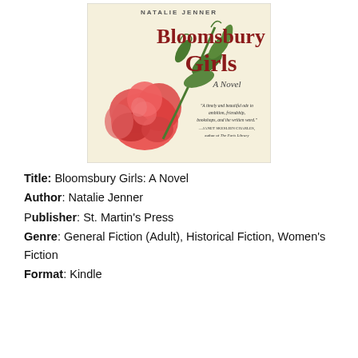[Figure (illustration): Book cover of 'Bloomsbury Girls: A Novel' by Natalie Jenner. Features a cream/beige background with a large red-orange peony flower and green leaves. The title 'Bloomsbury Girls' is in large dark red serif font, 'A Novel' in script, author name 'NATALIE JENNER' at the top. A blurb quote reads: 'A timely and beautiful ode to ambition, friendship, bookshops, and the written word.' —JANET SKESLIEN CHARLES, author of The Paris Library.]
Title:  Bloomsbury Girls: A Novel
Author: Natalie Jenner
Publisher: St. Martin's Press
Genre:  General Fiction (Adult), Historical Fiction, Women's Fiction
Format:  Kindle